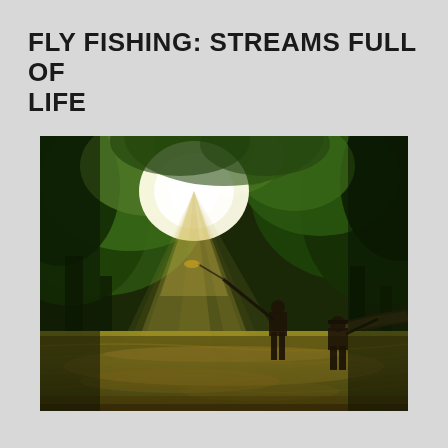FLY FISHING: STREAMS FULL OF LIFE
[Figure (photo): Two people fly fishing while wading in a shallow forest stream. Sunlight filters through the dense green tree canopy above, creating dramatic light rays. One figure on the left is casting a fly rod, the other stands on the right near a fallen log. The water is clear and reflects the warm sunlight.]